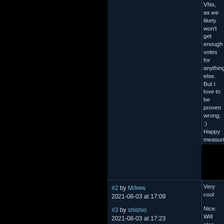VNs, as we likely won't get enough votes for anything else. But I love to be proven wrong. :) Happy measuri
#2 by Mrkew 2021-08-03 at 17:09
Very cool
#3 by shishio 2021-08-03 at 17:23
Nice. Will also